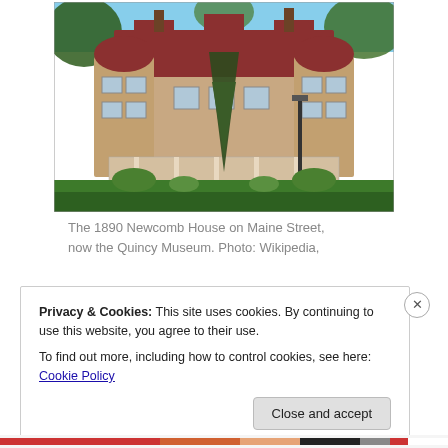[Figure (photo): Photograph of the 1890 Newcomb House on Maine Street, a large Victorian stone mansion with red roof, turrets, wide porch, and surrounded by trees and green lawn.]
The 1890 Newcomb House on Maine Street, now the Quincy Museum. Photo: Wikipedia,
Privacy & Cookies: This site uses cookies. By continuing to use this website, you agree to their use.
To find out more, including how to control cookies, see here: Cookie Policy